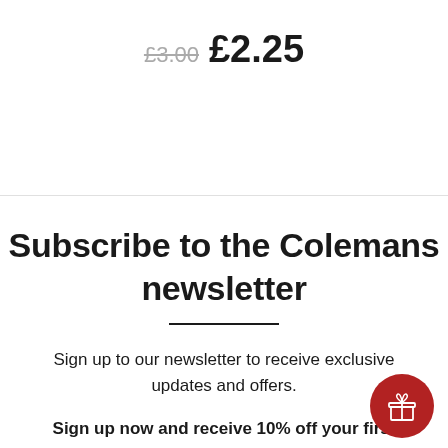£3.00 £2.25
Subscribe to the Colemans newsletter
Sign up to our newsletter to receive exclusive updates and offers.
Sign up now and receive 10% off your first